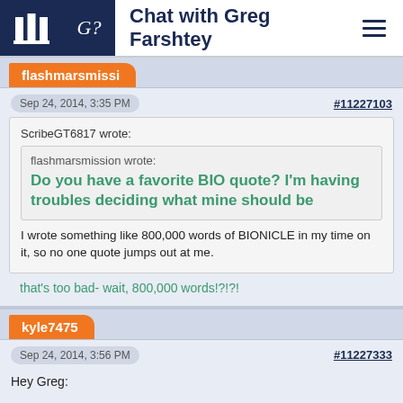Chat with Greg Farshtey
flashmarsmissi
Sep 24, 2014, 3:35 PM
#11227103
ScribeGT6817 wrote:
flashmarsmission wrote:
Do you have a favorite BIO quote? I'm having troubles deciding what mine should be
I wrote something like 800,000 words of BIONICLE in my time on it, so no one quote jumps out at me.
that's too bad- wait, 800,000 words!?!?!
kyle7475
Sep 24, 2014, 3:56 PM
#11227333
Hey Greg:
1a) What was Velika doing during Teridax's reign, and what would he have done